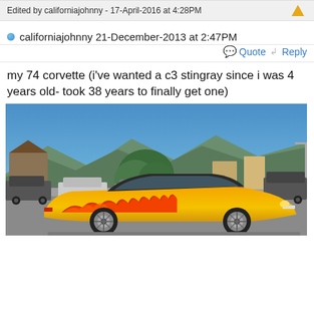Edited by californiajohnny - 17-April-2016 at 4:28PM
californiajohnny 21-December-2013 at 2:47PM
Quote  Reply
my 74 corvette (i've wanted a c3 stingray since i was 4 years old- took 38 years to finally get one)
[Figure (photo): A yellow and red flame-painted 1974 Chevrolet Corvette C3 Stingray parked on a street in what appears to be a mountain town on a sunny day. Other cars and buildings visible in background with blue sky and mountains.]